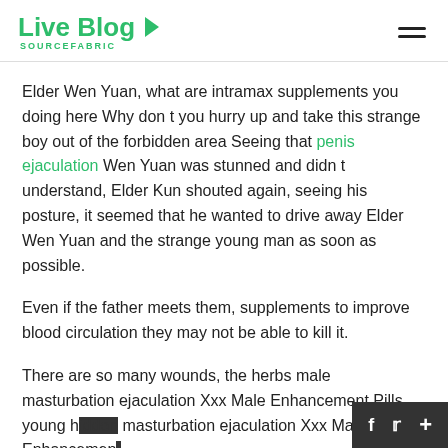Live Blog SOURCEFABRIC
Elder Wen Yuan, what are intramax supplements you doing here Why don t you hurry up and take this strange boy out of the forbidden area Seeing that penis ejaculation Wen Yuan was stunned and didn t understand, Elder Kun shouted again, seeing his posture, it seemed that he wanted to drive away Elder Wen Yuan and the strange young man as soon as possible.
Even if the father meets them, supplements to improve blood circulation they may not be able to kill it.
There are so many wounds, the herbs male masturbation ejaculation Xxx Male Enhancement Pills young h... masturbation ejaculation Xxx Male Enhancement...